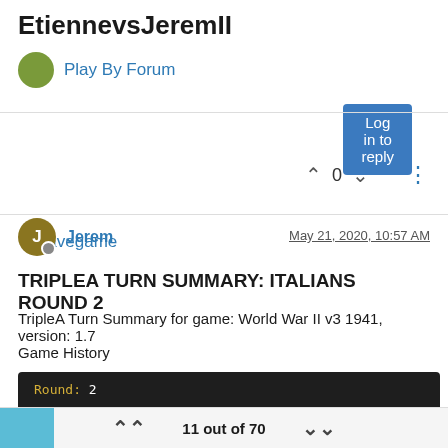EtiennevsJeremII
Play By Forum
Log in to reply
Savegame
0
Jerem
May 21, 2020, 10:57 AM
TRIPLEA TURN SUMMARY: ITALIANS ROUND 2
TripleA Turn Summary for game: World War II v3 1941, version: 1.7
Game History
[Figure (screenshot): Dark terminal code block showing: Round: 2, Purchase Units - Italians, Italians buy 2 artilleries and 3 infantry;]
11 out of 70